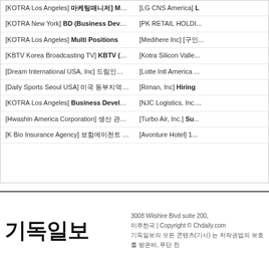[KOTRA Los Angeles] [마케팅매니저] Marketing Manager
[LG CNS America]
[KOTRA New York] BD (Business Development...
[PK RETAIL HOLDI...
[KOTRA Los Angeles] Multi Positions
[Medihere Inc] [구인...
[KBTV Korea Broadcasting TV] KBTV (한국어 KBS A...
[Kotra Silicon Valle...
[Dream International USA, Inc] 드림인터 채용공고, Dream I...
[Lotte Intl America ...
[Daily Sports Seoul USA] 미국 동부지역 영업 직원
[Riman, Inc] Hiring
[KOTRA Los Angeles] Business Development ...
[NJC Logistics, Inc....
[Hwashin America Corporation] 생산 관리 및 품질 관리. 채용공고 및 ...
[Turbo Air, Inc.] Su...
[K Bio Insurance Agency] 보험에이전트 모집. 수요 & 다양한 경력 직
[Avonture Hotel] 1...
기독일보 3008 Wilshire Blvd suite 200, | Copyright © Chdaily.com 기독일보의 모든 콘텐츠(기사) 는 저작권법의 보호를 받은바, 무단 전